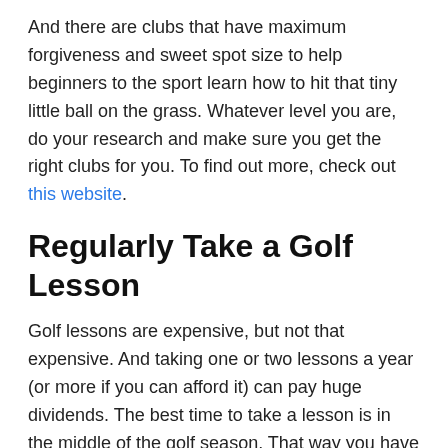And there are clubs that have maximum forgiveness and sweet spot size to help beginners to the sport learn how to hit that tiny little ball on the grass. Whatever level you are, do your research and make sure you get the right clubs for you. To find out more, check out this website.
Regularly Take a Golf Lesson
Golf lessons are expensive, but not that expensive. And taking one or two lessons a year (or more if you can afford it) can pay huge dividends. The best time to take a lesson is in the middle of the golf season. That way you have hit away the rust leftover from the off-season and you still have time to implement and work on the things the instructor tells you. Just make sure to take copious notes. Even record the session if your instructor permits